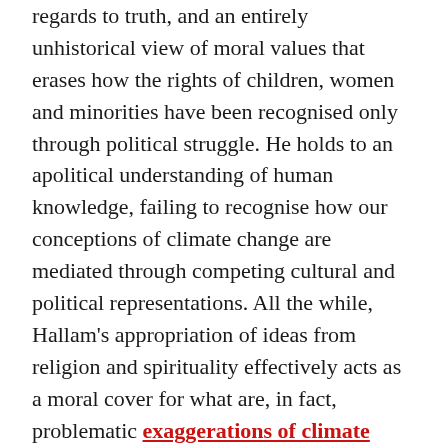regards to truth, and an entirely unhistorical view of moral values that erases how the rights of children, women and minorities have been recognised only through political struggle. He holds to an apolitical understanding of human knowledge, failing to recognise how our conceptions of climate change are mediated through competing cultural and political representations. All the while, Hallam's appropriation of ideas from religion and spirituality effectively acts as a moral cover for what are, in fact, problematic exaggerations of climate science and misinterpretations of social movement research.
Furthermore, if the politics of COVID-19 have demonstrated anything, they have shown that a